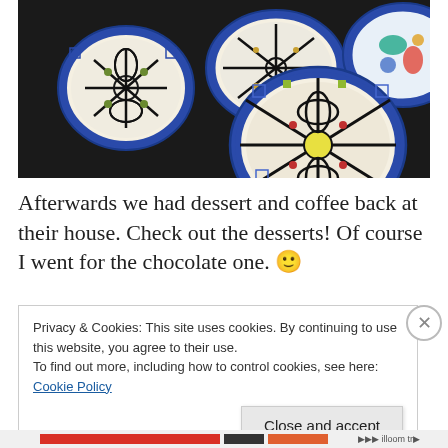[Figure (photo): Colorful hand-painted ceramic bowls with blue and white patterns, floral and geometric designs, stacked on a dark surface. Multiple bowls visible with intricate decorative motifs.]
Afterwards we had dessert and coffee back at their house. Check out the desserts! Of course I went for the chocolate one. 🙂
Privacy & Cookies: This site uses cookies. By continuing to use this website, you agree to their use.
To find out more, including how to control cookies, see here: Cookie Policy